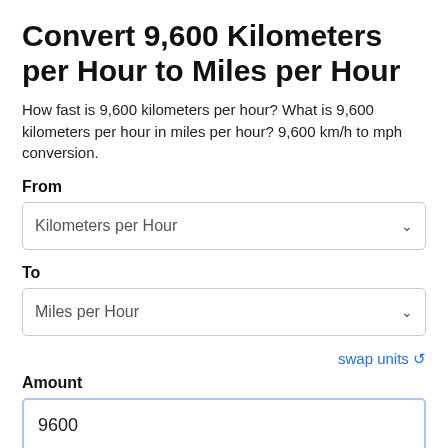Convert 9,600 Kilometers per Hour to Miles per Hour
How fast is 9,600 kilometers per hour? What is 9,600 kilometers per hour in miles per hour? 9,600 km/h to mph conversion.
From
Kilometers per Hour
To
Miles per Hour
swap units ↺
Amount
9600